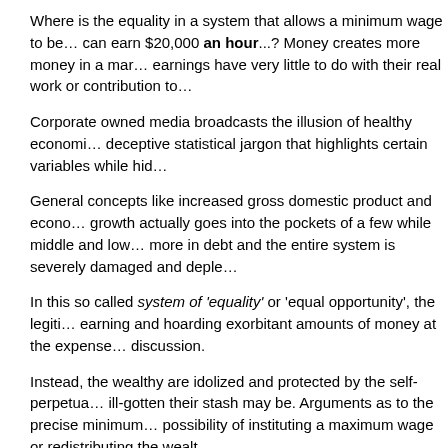Where is the equality in a system that allows a minimum wage to be… can earn $20,000 an hour...? Money creates more money in a mar… earnings have very little to do with their real work or contribution to…
Corporate owned media broadcasts the illusion of healthy economi… deceptive statistical jargon that highlights certain variables while hid…
General concepts like increased gross domestic product and econo… growth actually goes into the pockets of a few while middle and low… more in debt and the entire system is severely damaged and deple…
In this so called system of 'equality' or 'equal opportunity', the legiti… earning and hoarding exorbitant amounts of money at the expense… discussion.
Instead, the wealthy are idolized and protected by the self-perpetua… ill-gotten their stash may be. Arguments as to the precise minimum… possibility of instituting a maximum wage or redistributing the wealt…
According to the "Occupy Democrats" movement, since 1978 in the…
The cost of college tuition has gone up by 1,120 %
Medical care has increased by 601%
Food has increased by 244%